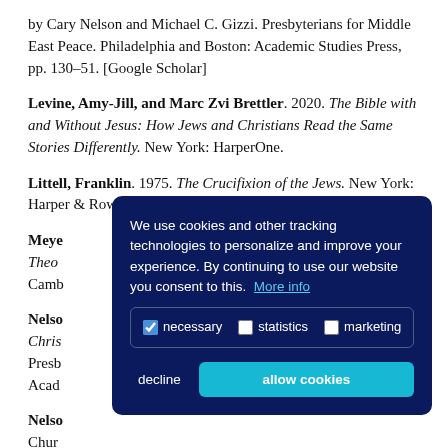by Cary Nelson and Michael C. Gizzi. Presbyterians for Middle East Peace. Philadelphia and Boston: Academic Studies Press, pp. 130–51. [Google Scholar]
Levine, Amy-Jill, and Marc Zvi Brettler. 2020. The Bible with and Without Jesus: How Jews and Christians Read the Same Stories Differently. New York: HarperOne.
Littell, Franklin. 1975. The Crucifixion of the Jews. New York: Harper & Row.
Meye... Theo... Camb...
Nelso... Chris... Presb... Acad...
Nelso... Chur... Nelson and Michael C. Gizzi. Presbyterians for Middle East
[Figure (other): Cookie consent modal overlay with dark navy background. Text reads: 'We use cookies and other tracking technologies to personalize and improve your experience. By continuing to use our website you consent to this. More info'. Below are checkboxes for 'necessary' (checked), 'statistics' (unchecked), 'marketing' (unchecked). Buttons: 'decline' and 'allow cookies' (cyan).]